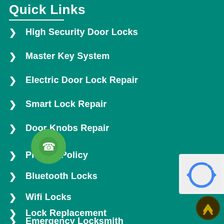Quick Links
High Security Door Locks
Master Key System
Electric Door Lock Repair
Smart Lock Repair
Door Knobs Repair
Privacy Policy
Bluetooth Locks
Wifi Locks
Lock Replacement
Emergency Locksmith
[Figure (other): Green phone call button icon (circular)]
[Figure (other): reCAPTCHA widget overlay]
[Figure (other): Dark scroll-to-top button]
Contact Information